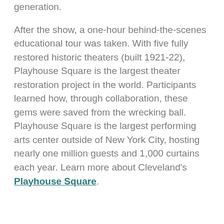generation.
After the show, a one-hour behind-the-scenes educational tour was taken. With five fully restored historic theaters (built 1921-22), Playhouse Square is the largest theater restoration project in the world. Participants learned how, through collaboration, these gems were saved from the wrecking ball. Playhouse Square is the largest performing arts center outside of New York City, hosting nearly one million guests and 1,000 curtains each year. Learn more about Cleveland's Playhouse Square.